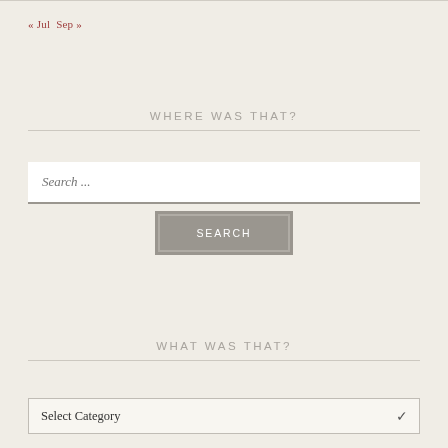« Jul  Sep »
WHERE WAS THAT?
[Figure (other): Search input field with placeholder text 'Search ...' and a SEARCH button below]
WHAT WAS THAT?
[Figure (other): Dropdown select box labeled 'Select Category' with a chevron arrow on the right]